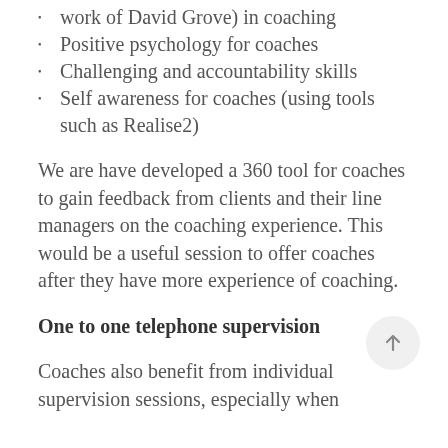work of David Grove) in coaching
Positive psychology for coaches
Challenging and accountability skills
Self awareness for coaches (using tools such as Realise2)
We are have developed a 360 tool for coaches to gain feedback from clients and their line managers on the coaching experience. This would be a useful session to offer coaches after they have more experience of coaching.
One to one telephone supervision
Coaches also benefit from individual supervision sessions, especially when